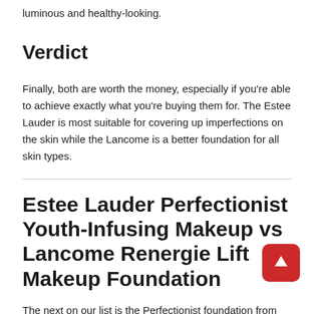luminous and healthy-looking.
Verdict
Finally, both are worth the money, especially if you're able to achieve exactly what you're buying them for. The Estee Lauder is most suitable for covering up imperfections on the skin while the Lancome is a better foundation for all skin types.
Estee Lauder Perfectionist Youth-Infusing Makeup vs Lancome Renergie Lift Makeup Foundation
The next on our list is the Perfectionist foundation from Estee